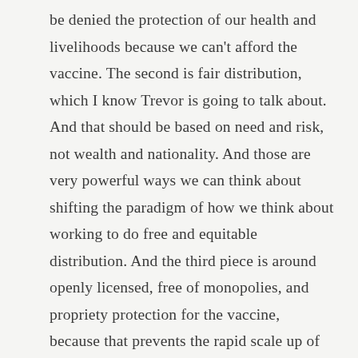be denied the protection of our health and livelihoods because we can't afford the vaccine. The second is fair distribution, which I know Trevor is going to talk about. And that should be based on need and risk, not wealth and nationality. And those are very powerful ways we can think about shifting the paradigm of how we think about working to do free and equitable distribution. And the third piece is around openly licensed, free of monopolies, and propriety protection for the vaccine, because that prevents the rapid scale up of production that we need in order to meet the global demand. So those are the different components, we've been really blown away by the type of support that we've received here in the United States and all around